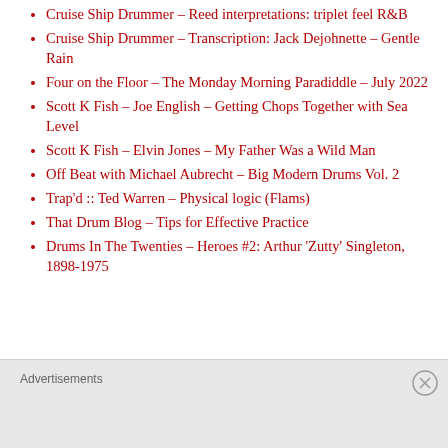Cruise Ship Drummer – Reed interpretations: triplet feel R&B
Cruise Ship Drummer – Transcription: Jack Dejohnette – Gentle Rain
Four on the Floor – The Monday Morning Paradiddle – July 2022
Scott K Fish – Joe English – Getting Chops Together with Sea Level
Scott K Fish – Elvin Jones – My Father Was a Wild Man
Off Beat with Michael Aubrecht – Big Modern Drums Vol. 2
Trap'd :: Ted Warren – Physical logic (Flams)
That Drum Blog – Tips for Effective Practice
Drums In The Twenties – Heroes #2: Arthur 'Zutty' Singleton, 1898-1975
Advertisements